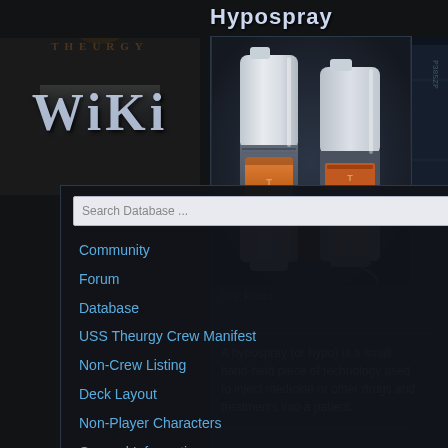[Figure (screenshot): Wiki logo with stylized metallic 'WiKi' text]
Hypospray
[Figure (photo): Two hypospray devices shown side by side, white/silver with orange cartridge inserts, futuristic medical injector design from Star Trek: Picard]
Trek: Picard
Community
Forum
Database
USS Theurgy Crew Manifest
Non-Crew Listing
Deck Layout
Non-Player Characters
General Information
Departments
Technical Specifications
Species Specifications
A hypospray (or hypo) is a small hand-held piece of technology used to inject medicine or other drugs and treatments into a patient.
[Figure (screenshot): Sci-fi corridor background on right side panel]